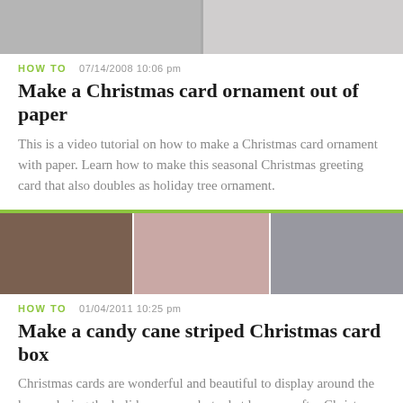[Figure (photo): Partial top photo strip showing two greyscale/muted images cropped at top]
HOW TO   07/14/2008  10:06 pm
Make a Christmas card ornament out of paper
This is a video tutorial on how to make a Christmas card ornament with paper. Learn how to make this seasonal Christmas greeting card that also doubles as holiday tree ornament.
[Figure (photo): Three-panel photo strip showing hands holding pink/red Christmas cards]
HOW TO   01/04/2011  10:25 pm
Make a candy cane striped Christmas card box
Christmas cards are wonderful and beautiful to display around the house during the holiday season, but what happens after Christmas and the New Year has passed? Most of us either stuff them in a drawer somewhere or simply throw them away. Find a better solution by crafting